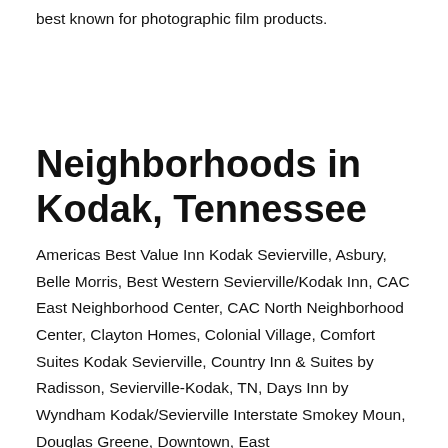best known for photographic film products.
Neighborhoods in Kodak, Tennessee
Americas Best Value Inn Kodak Sevierville, Asbury, Belle Morris, Best Western Sevierville/Kodak Inn, CAC East Neighborhood Center, CAC North Neighborhood Center, Clayton Homes, Colonial Village, Comfort Suites Kodak Sevierville, Country Inn & Suites by Radisson, Sevierville-Kodak, TN, Days Inn by Wyndham Kodak/Sevierville Interstate Smokey Moun, Douglas Greene, Downtown, East